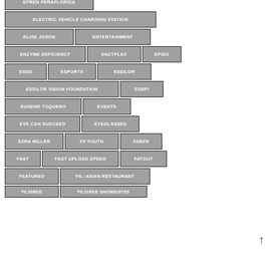EFREN PEÑAFLORIDA
ELECTRIC VEHICLE CHARGING STATION
ELISE JOSON
ENTERTAINMENT
ENZYME DEFICIENCY
ENZYPLEX
EPISO
ESGS
ESPORTS
ESSILOR
ESSILOR VISION FOUNDATION
ESSPI
EUGENE TOQUERO
EVENTS
EYE CAN SUCCEED
EYEGLASSES
EZRA MILLER
F5 YOUTH
FABER
FAST
FAST UPLOAD SPEED
FATOUT
FEATURED
FIL-ASIAN RESTAURANT
FILIGREE
FILIGREE SHOWSUITES